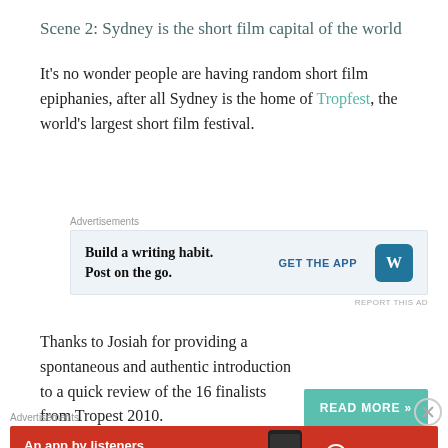Scene 2: Sydney is the short film capital of the world
It's no wonder people are having random short film epiphanies, after all Sydney is the home of Tropfest, the world's largest short film festival.
[Figure (other): Advertisement banner: Build a writing habit. Post on the go. GET THE APP — WordPress logo]
Thanks to Josiah for providing a spontaneous and authentic introduction to a quick review of the 16 finalists from Tropest 2010.
[Figure (other): Advertisement banner: An app by listeners, for listeners. — Pocket Casts logo with phone image]